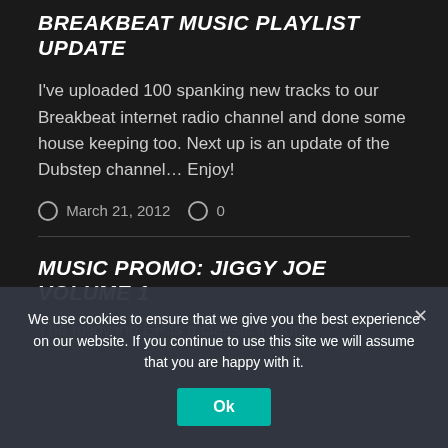BREAKBEAT MUSIC PLAYLIST UPDATE
I've uploaded 100 spanking new tracks to our Breakbeat internet radio channel and done some house keeping too. Next up is an update of the Dubstep channel… Enjoy!
March 21, 2012   0
MUSIC PROMO: JIGGY JOE VOLUME 1
The following EP is...
We use cookies to ensure that we give you the best experience on our website. If you continue to use this site we will assume that you are happy with it.